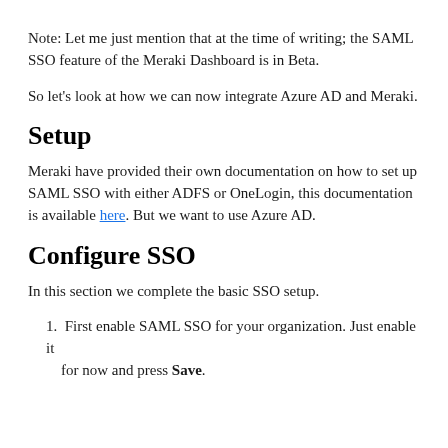Note: Let me just mention that at the time of writing; the SAML SSO feature of the Meraki Dashboard is in Beta.
So let's look at how we can now integrate Azure AD and Meraki.
Setup
Meraki have provided their own documentation on how to set up SAML SSO with either ADFS or OneLogin, this documentation is available here. But we want to use Azure AD.
Configure SSO
In this section we complete the basic SSO setup.
First enable SAML SSO for your organization. Just enable it for now and press Save.